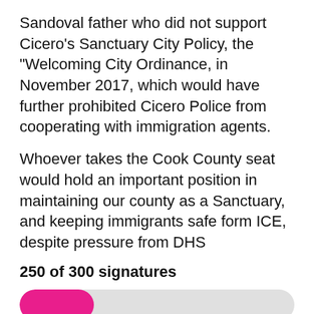Sandoval father who did not support Cicero's Sanctuary City Policy, the "Welcoming City Ordinance, in November 2017, which would have further prohibited Cicero Police from cooperating with immigration agents.
Whoever takes the Cook County seat would hold an important position in maintaining our county as a Sanctuary, and keeping immigrants safe form ICE, despite pressure from DHS
250 of 300 signatures
[Figure (other): Progress bar showing approximately 250 of 300 signatures filled in pink/magenta on a light gray background]
SIGN